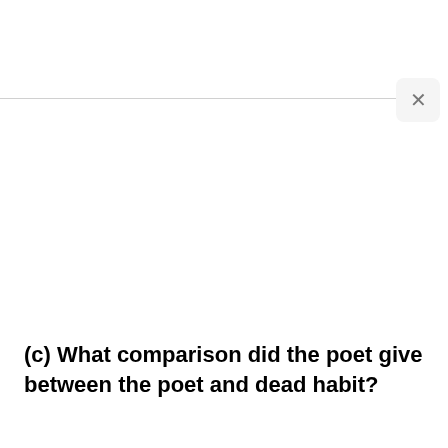(c) What comparison did the poet give between the poet and dead habit?